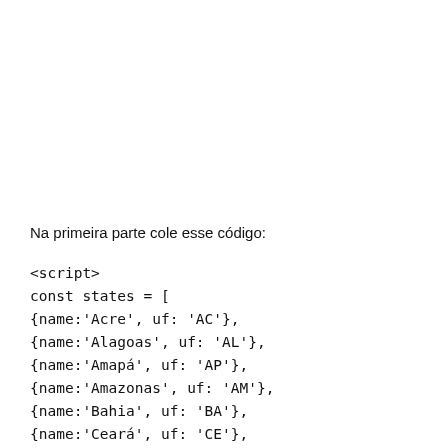Na primeira parte cole esse código:
<script>
const states = [
{name:'Acre', uf: 'AC'},
{name:'Alagoas', uf: 'AL'},
{name:'Amapá', uf: 'AP'},
{name:'Amazonas', uf: 'AM'},
{name:'Bahia', uf: 'BA'},
{name:'Ceará', uf: 'CE'},
{name:'Distrito Federal', uf: 'DF'},
{name:'Espírito Santo', uf: 'ES'},